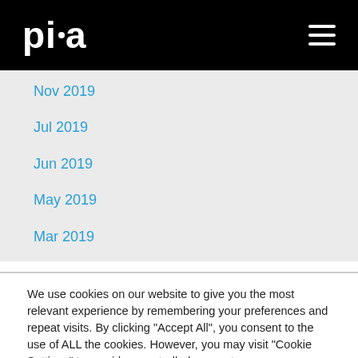pia
Nov 2019
Jul 2019
Jun 2019
May 2019
Mar 2019
We use cookies on our website to give you the most relevant experience by remembering your preferences and repeat visits. By clicking "Accept All", you consent to the use of ALL the cookies. However, you may visit "Cookie Settings" to provide a controlled consent.
Cookie Settings | Accept All